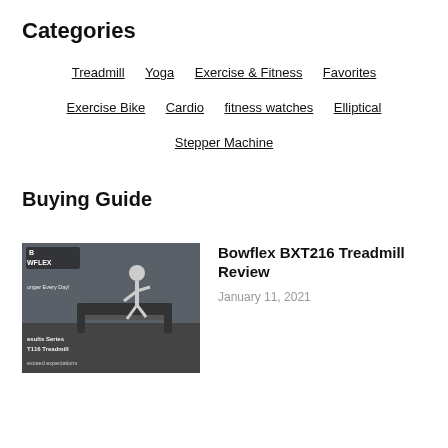Categories
Treadmill
Yoga
Exercise & Fitness
Favorites
Exercise Bike
Cardio
fitness watches
Elliptical
Stepper Machine
Buying Guide
[Figure (photo): Woman running on a Bowflex treadmill with Bowflex branding and text 'Results Series T116 Treadmill exceed expectations']
Bowflex BXT216 Treadmill Review
January 11, 2021